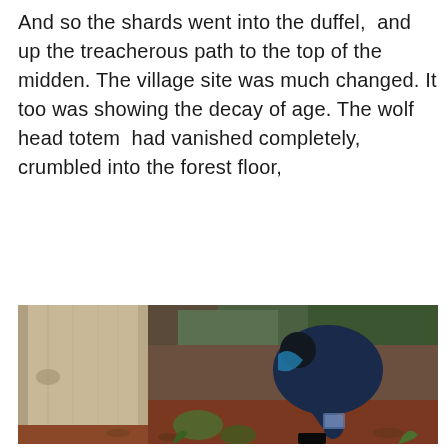And so the shards went into the duffel, and up the treacherous path to the top of the midden. The village site was much changed. It too was showing the decay of age. The wolf head totem had vanished completely, crumbled into the forest floor,
[Figure (photo): A person in a dark blue jacket and black hat bending over at the base of a large weathered wooden post or totem pole, examining the ground or collecting a sample in a plastic bag. The setting is a forested area with green foliage, reddish-brown soil and leaf litter on the ground.]